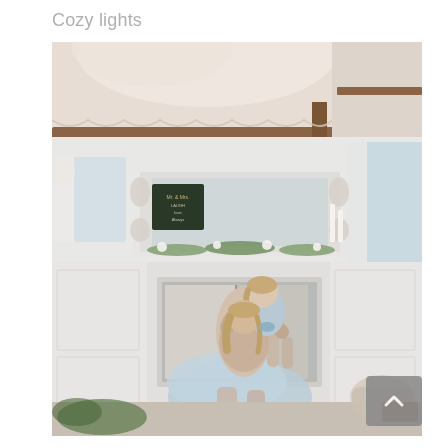Cozy lights
[Figure (photo): Indoor wedding or event scene. Two people embracing, one lifting the other, in front of a white fireplace mantel decorated with greenery and white flowers. The ceiling has flowing lace or fabric draping. A 'Mr. & Mrs.' sign and ornate mirror are visible on the mantel. A window with lace curtains is on the right. The scene is bright and airy with a soft white and light blue color palette.]